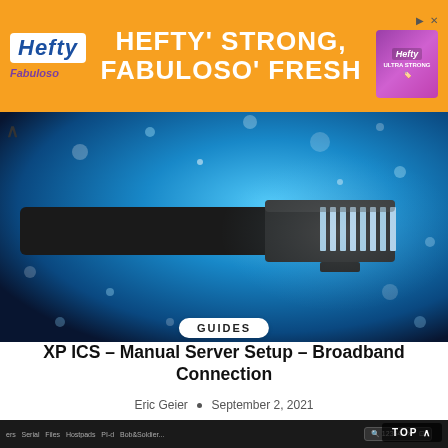[Figure (photo): Hefty / Fabuloso advertising banner with orange background and bold white text]
[Figure (photo): Hero image showing a network ethernet cable connector with glowing blue fiber optic bokeh background]
GUIDES
XP ICS – Manual Server Setup – Broadband Connection
Eric Geier • September 2, 2021
[Figure (screenshot): Bottom portion of a dark-themed browser or application window, partially visible]